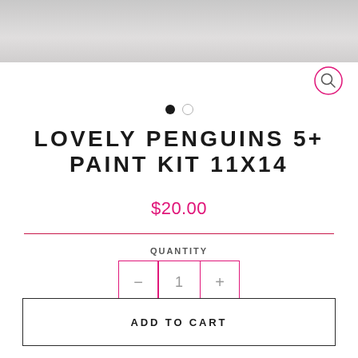[Figure (photo): Product image of Lovely Penguins 5+ Paint Kit 11x14 at the top of the page, partially cropped]
LOVELY PENGUINS 5+ PAINT KIT 11X14
$20.00
QUANTITY
1
ADD TO CART